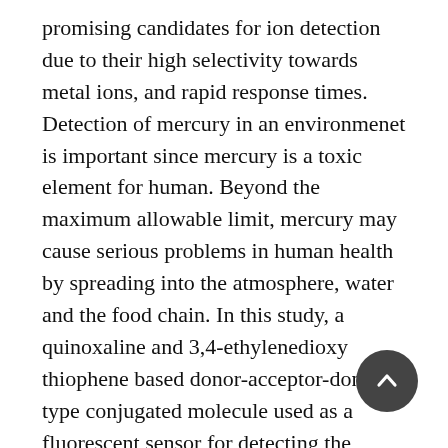promising candidates for ion detection due to their high selectivity towards metal ions, and rapid response times. Detection of mercury in an environmenet is important since mercury is a toxic element for human. Beyond the maximum allowable limit, mercury may cause serious problems in human health by spreading into the atmosphere, water and the food chain. In this study, a quinoxaline and 3,4-ethylenedioxy thiophene based donor-acceptor-donor type conjugated molecule used as a fluorescent sensor for detecting the mercury ion in aqueous medium. Among other various cations, existence of mercury resulted in a full quenching of the fluorescence signal. Then, a paper based sensor is constructed and used for mercury detection. As a result it is concluded that the offering sensor is a good candidate for selective mercury detection in aqueous media both in solution and paper based forms.